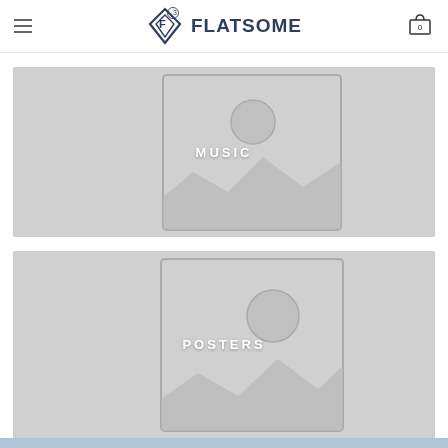[Figure (screenshot): Flatsome WooCommerce theme website header with hamburger menu, diamond logo with superscript 3, FLATSOME text, and shopping cart icon with 0 count]
[Figure (illustration): Placeholder image block for MUSIC category with gray background and image placeholder icon]
[Figure (illustration): Placeholder image block for POSTERS category with gray background and image placeholder icon]